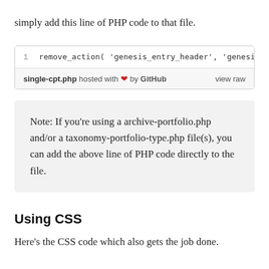simply add this line of PHP code to that file.
[Figure (screenshot): GitHub Gist code block showing: '1   remove_action( \'genesis_entry_header\', \'genesis_do_' with footer: 'single-cpt.php hosted with ❤ by GitHub   view raw']
Note: If you're using a archive-portfolio.php and/or a taxonomy-portfolio-type.php file(s), you can add the above line of PHP code directly to the file.
Using CSS
Here's the CSS code which also gets the job done.